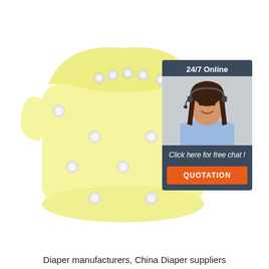[Figure (photo): A yellow cloth snap-closure baby diaper (reusable) on a white background, with multiple white snap buttons visible on the front and sides. In the upper-right corner, an overlaid customer service chat widget shows '24/7 Online', a photo of a smiling woman with a headset, 'Click here for free chat!', and an orange 'QUOTATION' button.]
Diaper manufacturers, China Diaper suppliers